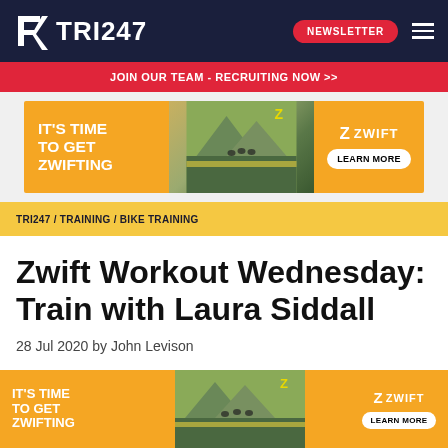TRI247 | NEWSLETTER
JOIN OUR TEAM - RECRUITING NOW >>
[Figure (infographic): Zwift advertisement banner: IT'S TIME TO GET ZWIFTING with cyclists riding, Zwift logo and LEARN MORE button]
TRI247 / TRAINING / BIKE TRAINING
Zwift Workout Wednesday: Train with Laura Siddall
28 Jul 2020 by John Levison
SHARE
[Figure (infographic): Bottom Zwift advertisement banner: IT'S TIME TO GET ZWIFTING with cyclists riding, Zwift logo and LEARN MORE button]